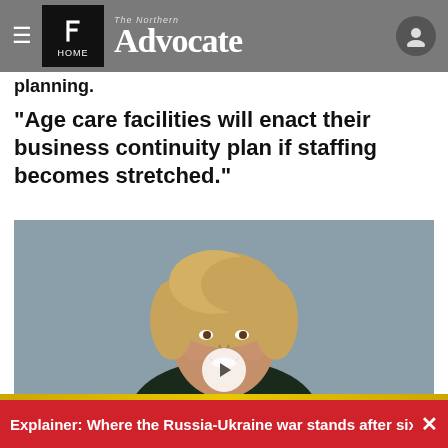The Northern Advocate — HOME
planning.
"Age care facilities will enact their business continuity plan if staffing becomes stretched."
[Figure (photo): Headshot of a woman with short wavy blonde hair, smiling, against a grey background, wearing a dark top.]
Explainer: Where the Russia-Ukraine war stands after six ×